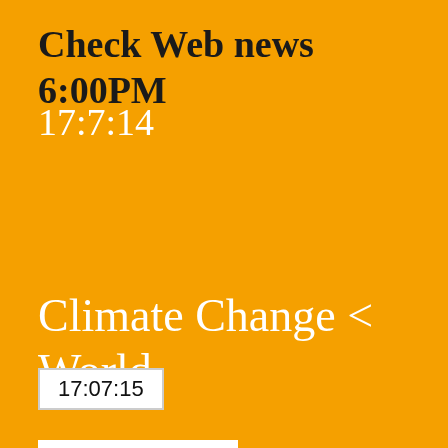Check Web news 6:00PM
17:7:14
Climate Change < World
17:07:15